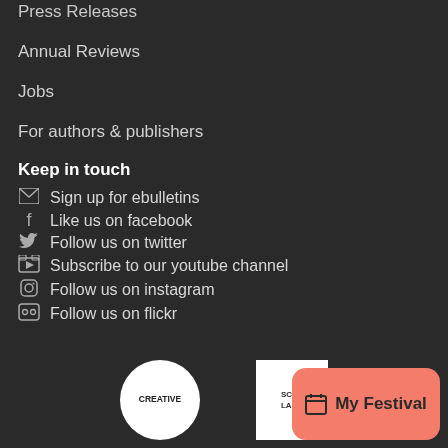Press Releases
Annual Reviews
Jobs
For authors & publishers
Keep in touch
Sign up for ebulletins
Like us on facebook
Follow us on twitter
Subscribe to our youtube channel
Follow us on instagram
Follow us on flickr
[Figure (logo): Creative Scotland logo (white circle with CREATIVE text) and Scotland logo (white rectangle with SCOT/LAND text)]
[Figure (other): My Festival button with calendar icon, salmon/coral background]